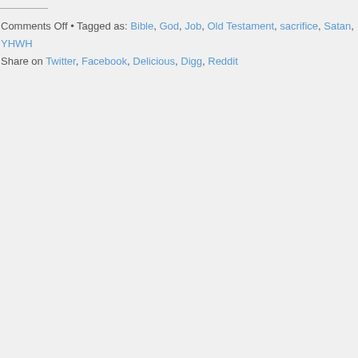Comments Off • Tagged as: Bible, God, Job, Old Testament, sacrifice, Satan, YHWH
Share on Twitter, Facebook, Delicious, Digg, Reddit